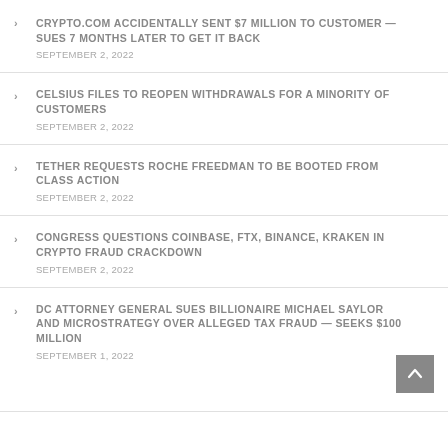CRYPTO.COM ACCIDENTALLY SENT $7 MILLION TO CUSTOMER — SUES 7 MONTHS LATER TO GET IT BACK
SEPTEMBER 2, 2022
CELSIUS FILES TO REOPEN WITHDRAWALS FOR A MINORITY OF CUSTOMERS
SEPTEMBER 2, 2022
TETHER REQUESTS ROCHE FREEDMAN TO BE BOOTED FROM CLASS ACTION
SEPTEMBER 2, 2022
CONGRESS QUESTIONS COINBASE, FTX, BINANCE, KRAKEN IN CRYPTO FRAUD CRACKDOWN
SEPTEMBER 2, 2022
DC ATTORNEY GENERAL SUES BILLIONAIRE MICHAEL SAYLOR AND MICROSTRATEGY OVER ALLEGED TAX FRAUD — SEEKS $100 MILLION
SEPTEMBER 1, 2022